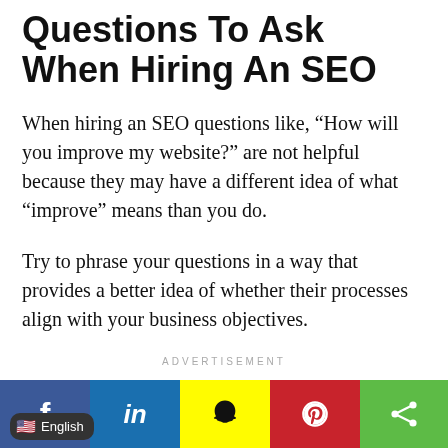Questions To Ask When Hiring An SEO
When hiring an SEO questions like, “How will you improve my website?” are not helpful because they may have a different idea of what “improve” means than you do.
Try to phrase your questions in a way that provides a better idea of whether their processes align with your business objectives.
ADVERTISEMENT
[Figure (other): Social media sharing bar with Facebook, LinkedIn, Snapchat, Pinterest, and general share buttons. Also shows English language selector pill.]